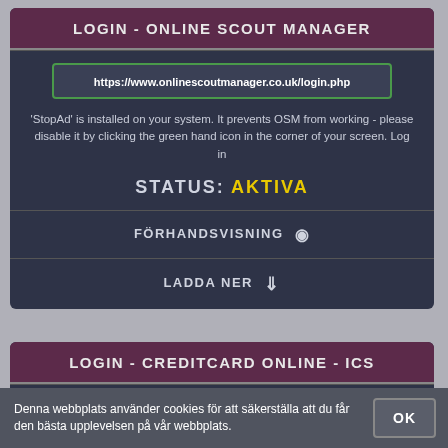LOGIN - ONLINE SCOUT MANAGER
https://www.onlinescoutmanager.co.uk/login.php
'StopAd' is installed on your system. It prevents OSM from working - please disable it by clicking the green hand icon in the corner of your screen. Log in
STATUS: AKTIVA
FÖRHANDSVISNING
LADDA NER
LOGIN - CREDITCARD ONLINE - ICS
https://www.icscards.nl/abnamrogb/sca-login
Online access to all your credit card information
Denna webbplats använder cookies för att säkerställa att du får den bästa upplevelsen på vår webbplats.